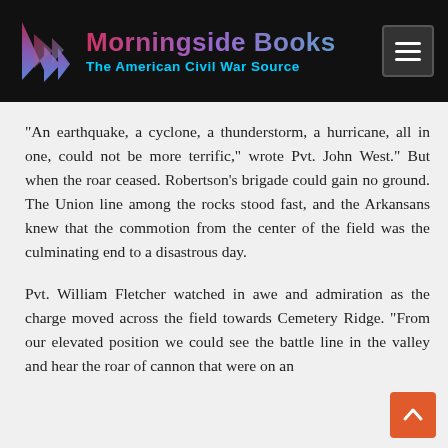Morningside Books — The American Civil War Source
“An earthquake, a cyclone, a thunderstorm, a hurricane, all in one, could not be more terrific,” wrote Pvt. John West.” But when the roar ceased. Robertson’s brigade could gain no ground. The Union line among the rocks stood fast, and the Arkansans knew that the commotion from the center of the field was the culminating end to a disastrous day.
Pvt. William Fletcher watched in awe and admiration as the charge moved across the field towards Cemetery Ridge. “From our elevated position we could see the battle line in the valley and hear the roar of cannon that were on an